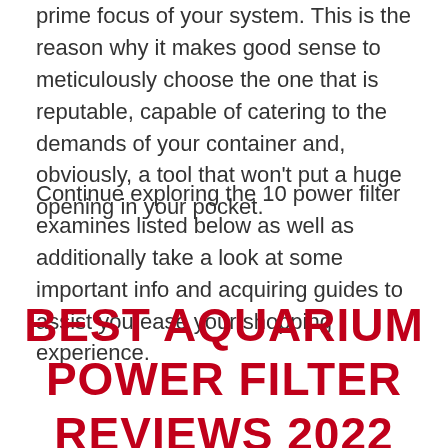prime focus of your system. This is the reason why it makes good sense to meticulously choose the one that is reputable, capable of catering to the demands of your container and, obviously, a tool that won't put a huge opening in your pocket.
Continue exploring the 10 power filter examines listed below as well as additionally take a look at some important info and acquiring guides to assist you ease your shopping experience.
BEST AQUARIUM POWER FILTER REVIEWS 2022